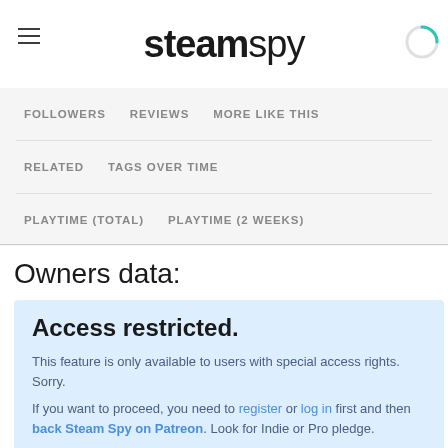steamspy
FOLLOWERS   REVIEWS   MORE LIKE THIS   RELATED   TAGS OVER TIME   PLAYTIME (TOTAL)   PLAYTIME (2 WEEKS)
Owners data:
Access restricted.

This feature is only available to users with special access rights. Sorry.

If you want to proceed, you need to register or log in first and then back Steam Spy on Patreon. Look for Indie or Pro pledge.

Don't forget to use the same email as on Steam Spy!